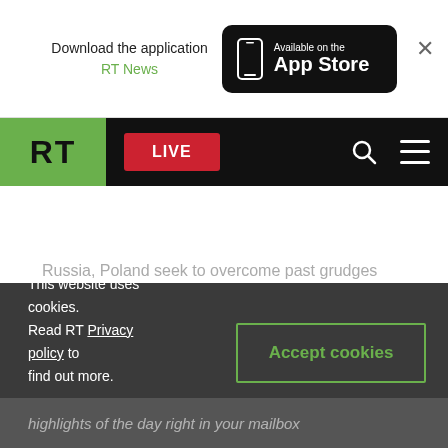[Figure (screenshot): App Store download banner with phone icon and 'Available on the App Store' button]
RT LIVE
Russia, Poland seek to overcome past grudges
This website uses cookies. Read RT Privacy policy to find out more.
Accept cookies